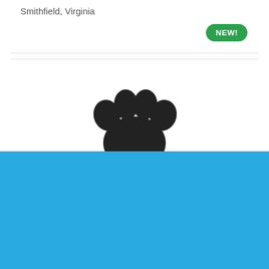Smithfield, Virginia
[Figure (other): Green pill-shaped badge with bold white text 'NEW!']
[Figure (illustration): Black paw print icon centered on white background]
Cookie Settings
Got it
We use cookies so that we can remember you and understand how you use our site. If you do not agree with our use of cookies, please change the current settings found in our Cookie Policy. Otherwise, you agree to the use of the cookies as they are currently set.